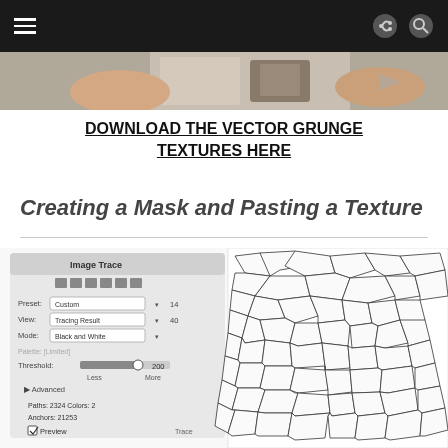Navigation bar with hamburger menu and search/share icons
[Figure (photo): Hero image strip showing hands and objects on a desk, partially visible]
DOWNLOAD THE VECTOR GRUNGE TEXTURES HERE
Creating a Mask and Pasting a Texture
[Figure (screenshot): Screenshot showing Adobe Illustrator Image Trace panel on the left with settings (Preset: Custom, View: Tracing Result, Mode: Black and White, Threshold: 200, Paths: 2324, Colors: 2, Anchors: 21253, Preview checked) alongside a vector traced cracked/mosaic stone texture pattern in black and white]